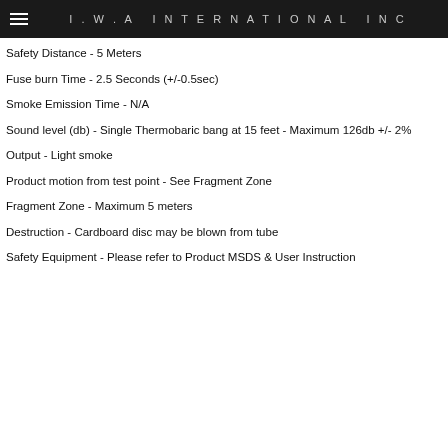I.W.A INTERNATIONAL INC
Safety Distance - 5 Meters
Fuse burn Time - 2.5 Seconds (+/-0.5sec)
Smoke Emission Time - N/A
Sound level (db) - Single Thermobaric bang at 15 feet - Maximum 126db +/- 2%
Output - Light smoke
Product motion from test point - See Fragment Zone
Fragment Zone - Maximum 5 meters
Destruction - Cardboard disc may be blown from tube
Safety Equipment - Please refer to Product MSDS & User Instruction